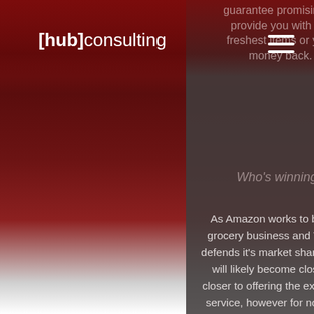[hub]consulting
guarantee promising to provide you with the freshest items or your money back.
Who's winning?
As Amazon works to build it's grocery business and Walmart defends it's market share the two will likely become closer and closer to offering the exact same service, however for now many shoppers are noticing that while Amazon offers a greater selection, Walmart is winning the price war as well as offering substitutions,